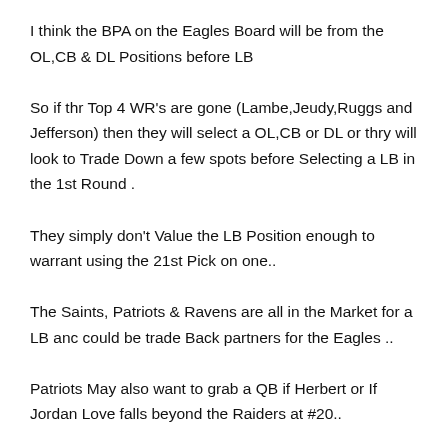I think the BPA on the Eagles Board will be from the OL,CB & DL Positions before LB
So if thr Top 4 WR's are gone (Lambe,Jeudy,Ruggs and Jefferson) then they will select a OL,CB or DL or thry will look to Trade Down a few spots before Selecting a LB in the 1st Round .
They simply don't Value the LB Position enough to warrant using the 21st Pick on one..
The Saints, Patriots & Ravens are all in the Market for a LB anc could be trade Back partners for the Eagles ..
Patriots May also want to grab a QB if Herbert or If Jordan Love falls beyond the Raiders at #20..
Eagles do not need to panic and simply select at #21 unless they feel one of highly rated Prospects are [scroll button] on the Board…
Could be a LB ? Possibly but I feel this is a small chance